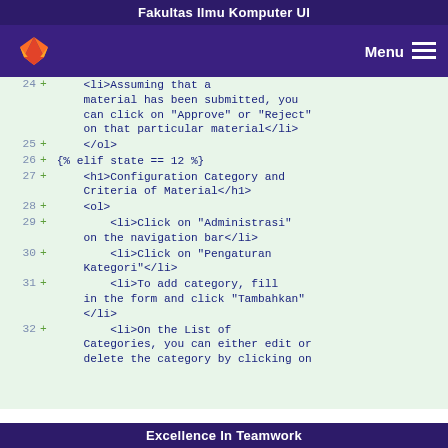Fakultas Ilmu Komputer UI
[Figure (screenshot): GitLab navigation bar with fox logo and Menu button]
24 + <li>Assuming that a material has been submitted, you can click on "Approve" or "Reject" on that particular material</li>
25 + </ol>
26 + {% elif state == 12 %}
27 + <h1>Configuration Category and Criteria of Material</h1>
28 + <ol>
29 + <li>Click on "Administrasi" on the navigation bar</li>
30 + <li>Click on "Pengaturan Kategori"</li>
31 + <li>To add category, fill in the form and click "Tambahkan" </li>
32 + <li>On the List of Categories, you can either edit or delete the category by clicking on
Excellence In Teamwork